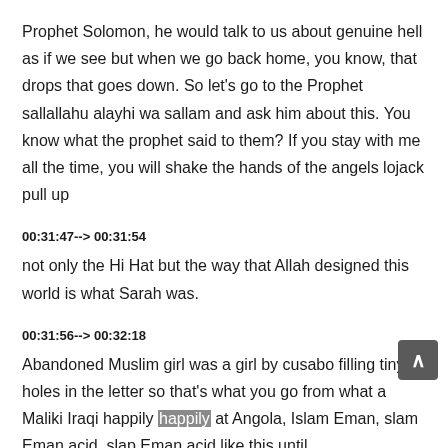Prophet Solomon, he would talk to us about genuine hell as if we see but when we go back home, you know, that drops that goes down. So let's go to the Prophet sallallahu alayhi wa sallam and ask him about this. You know what the prophet said to them? If you stay with me all the time, you will shake the hands of the angels lojack pull up
00:31:47--> 00:31:54
not only the Hi Hat but the way that Allah designed this world is what Sarah was.
00:31:56--> 00:32:18
Abandoned Muslim girl was a girl by cusabo filling tiny holes in the letter so that's what you go from what a Maliki Iraqi happily happily at Angola, Islam Eman, slam Eman acid, slap Eman acid like this until you die. But do you? Do you allow doubts?